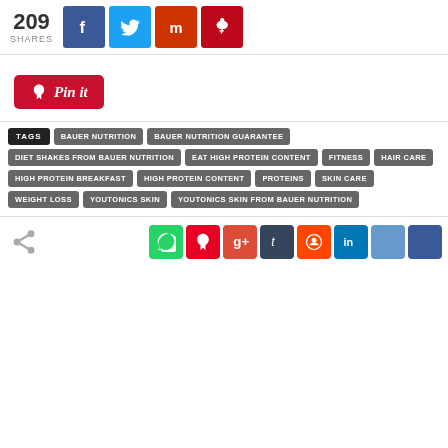[Figure (infographic): Social share bar showing 209 shares with Facebook, Twitter, Mix, and Pinterest buttons]
[Figure (infographic): Pinterest 'Pin it' button in red with script text]
TAGS: BAUER NUTRITION | BAUER NUTRITION GUARANTEE | DIET SHAKES FROM BAUER NUTRITION | EAT HIGH PROTEIN CONTENT | FITNESS | HAIR CARE | HIGH PROTEIN BREAKFAST | HIGH PROTEIN CONTENT | PROTEINS | SKIN CARE | WEIGHT LOSS | YOUTONICS SKIN | YOUTONICS SKIN FROM BAUER NUTRITION
[Figure (infographic): Bottom social share bar with WhatsApp, Pinterest, Google+, Tumblr, Reddit, LinkedIn, and two more buttons]